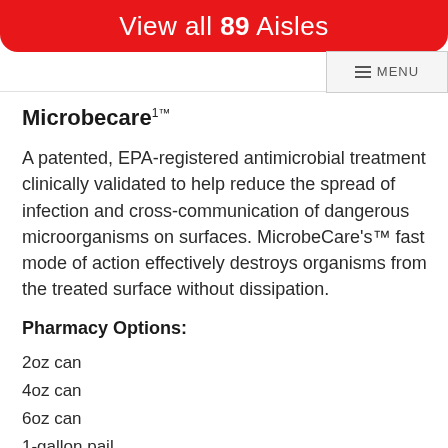View all 89 Aisles
Microbecare™
A patented, EPA-registered antimicrobial treatment clinically validated to help reduce the spread of infection and cross-communication of dangerous microorganisms on surfaces. MicrobeCare's™ fast mode of action effectively destroys organisms from the treated surface without dissipation.
Pharmacy Options:
2oz can
4oz can
6oz can
1-gallon pail
Spray/Flairosol bottle